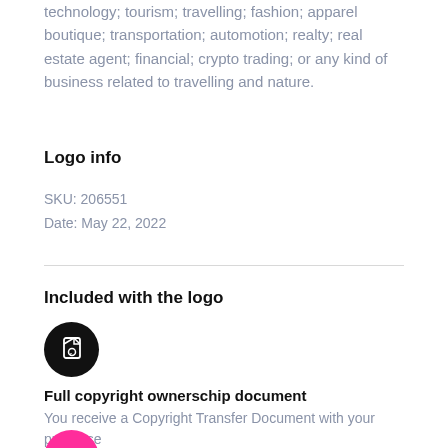technology; tourism; travelling; fashion; apparel boutique; transportation; automotion; realty; real estate agent; financial; crypto trading; or any kind of business related to travelling and nature.
Logo info
SKU: 206551
Date: May 22, 2022
Included with the logo
[Figure (logo): Black circle icon with a copyright/document symbol inside]
Full copyright ownerschip document
You receive a Copyright Transfer Document with your purchase
[Figure (logo): Pink/magenta circle icon (partially visible at bottom)]